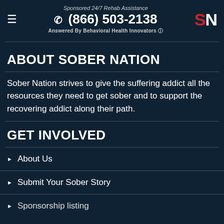Sponsored 24/7 Rehab Assistance
☎ (866) 503-2138
Answered By Behavioral Health Innovators ⓘ
ABOUT SOBER NATION
Sober Nation strives to give the suffering addict all the resources they need to get sober and to support the recovering addict along their path.
GET INVOLVED
About Us
Submit Your Sober Story
Sponsorship listing